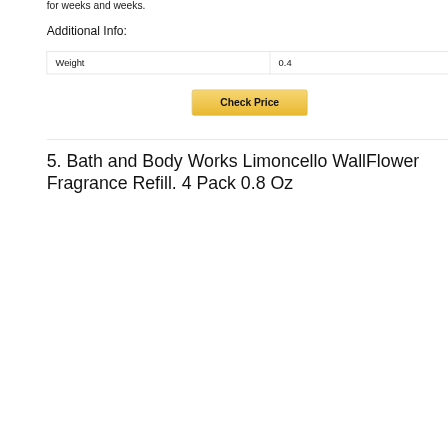for weeks and weeks.
Additional Info:
| Weight | 0.4 |
Check Price
5. Bath and Body Works Limoncello WallFlower Fragrance Refill. 4 Pack 0.8 Oz